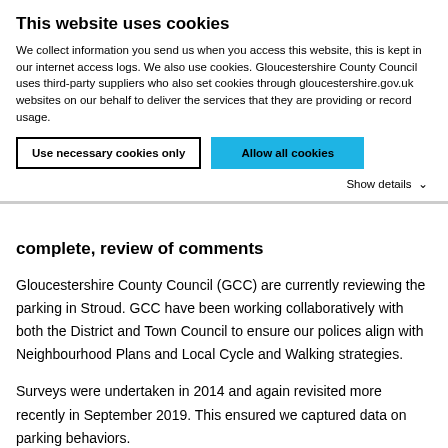This website uses cookies
We collect information you send us when you access this website, this is kept in our internet access logs. We also use cookies. Gloucestershire County Council uses third-party suppliers who also set cookies through gloucestershire.gov.uk websites on our behalf to deliver the services that they are providing or record usage.
Use necessary cookies only | Allow all cookies
Show details ∨
complete, review of comments
Gloucestershire County Council (GCC) are currently reviewing the parking in Stroud. GCC have been working collaboratively with both the District and Town Council to ensure our polices align with Neighbourhood Plans and Local Cycle and Walking strategies.
Surveys were undertaken in 2014 and again revisited more recently in September 2019. This ensured we captured data on parking behaviors.